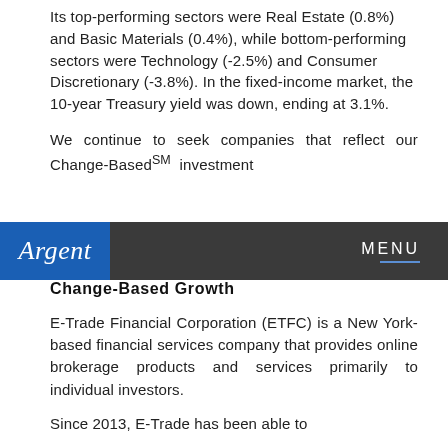Its top-performing sectors were Real Estate (0.8%) and Basic Materials (0.4%), while bottom-performing sectors were Technology (-2.5%) and Consumer Discretionary (-3.8%). In the fixed-income market, the 10-year Treasury yield was down, ending at 3.1%.
We continue to seek companies that reflect our Change-BasedSM investment
Argent | MENU
Change-Based Growth
E-Trade Financial Corporation (ETFC) is a New York-based financial services company that provides online brokerage products and services primarily to individual investors.
Since 2013, E-Trade has been able to